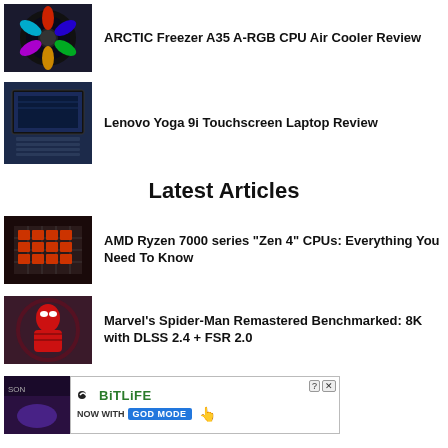[Figure (photo): ARCTIC Freezer A35 A-RGB CPU cooler fan thumbnail]
ARCTIC Freezer A35 A-RGB CPU Air Cooler Review
[Figure (photo): Lenovo Yoga 9i laptop thumbnail]
Lenovo Yoga 9i Touchscreen Laptop Review
Latest Articles
[Figure (photo): AMD Ryzen CPU chip thumbnail]
AMD Ryzen 7000 series "Zen 4" CPUs: Everything You Need To Know
[Figure (photo): Marvel's Spider-Man Remastered game screenshot thumbnail]
Marvel's Spider-Man Remastered Benchmarked: 8K with DLSS 2.4 + FSR 2.0
[Figure (screenshot): BitLife advertisement banner - Now with GOD MODE]
[Figure (photo): Bottom left article thumbnail]